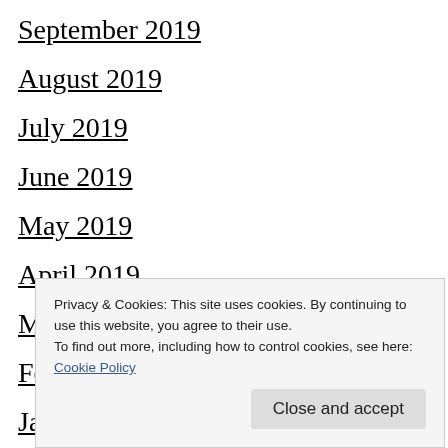September 2019
August 2019
July 2019
June 2019
May 2019
April 2019
March 2019
February 2019
January 2019
August 2018
Privacy & Cookies: This site uses cookies. By continuing to use this website, you agree to their use. To find out more, including how to control cookies, see here: Cookie Policy